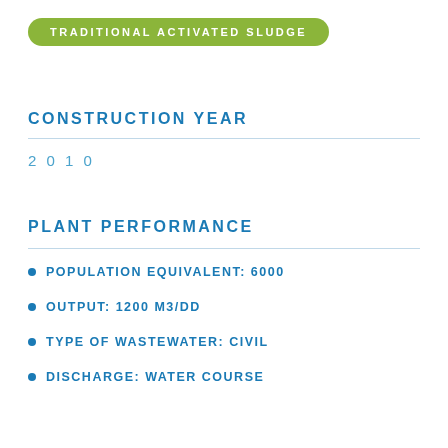TRADITIONAL ACTIVATED SLUDGE
CONSTRUCTION YEAR
2010
PLANT PERFORMANCE
POPULATION EQUIVALENT: 6000
OUTPUT: 1200 M3/DD
TYPE OF WASTEWATER: CIVIL
DISCHARGE: WATER COURSE